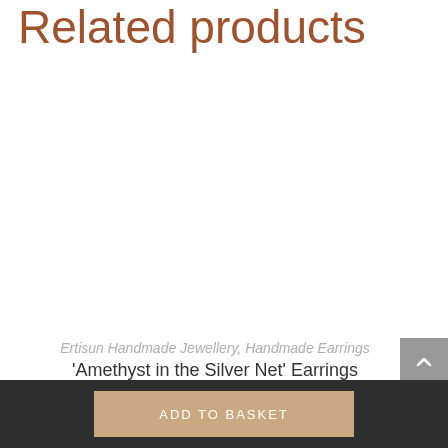Related products
Ertisun Handmade Jewellery, Handmade Earrings
'Amethyst in the Silver Net' Earrings
ADD TO BASKET